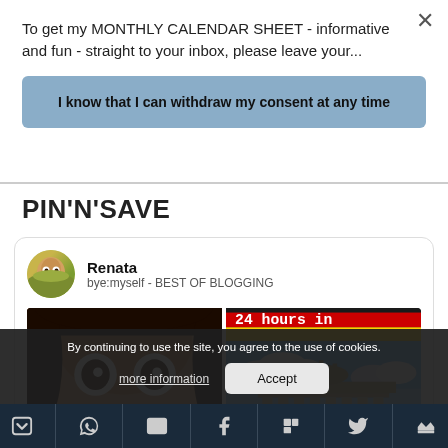To get my MONTHLY CALENDAR SHEET - informative and fun - straight to your inbox, please leave your...
I know that I can withdraw my consent at any time
PIN'N'SAVE
[Figure (screenshot): Pinterest-style card showing user Renata with profile description 'bye:myself - BEST OF BLOGGING', two images: left shows a woman with wide eyes with caption 'a visit to the', right shows the German flag and Brandenburg Gate with text '24 hours in']
By continuing to use the site, you agree to the use of cookies.
more information
Accept
[Figure (infographic): Bottom social sharing bar with icons: Pocket, WhatsApp, Email, Facebook, Flipboard, Twitter, and another icon]